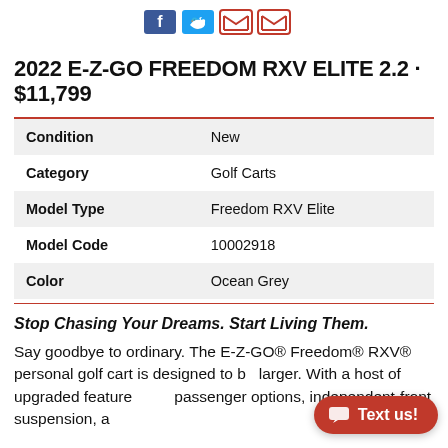[Figure (other): Social media sharing icons: Facebook (blue), Twitter (light blue), two email/share icons (red outlined)]
2022 E-Z-GO FREEDOM RXV ELITE 2.2 · $11,799
| Condition | New |
| Category | Golf Carts |
| Model Type | Freedom RXV Elite |
| Model Code | 10002918 |
| Color | Ocean Grey |
Stop Chasing Your Dreams. Start Living Them.
Say goodbye to ordinary. The E-Z-GO® Freedom® RXV® personal golf cart is designed to be larger. With a host of upgraded features and passenger options, independent-front suspension, a